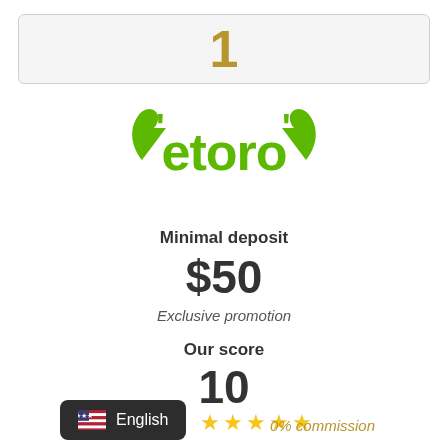1
[Figure (logo): eToro green bull logo with brand name]
Minimal deposit
$50
Exclusive promotion
Our score
10
[Figure (other): 5 gold stars rating]
[Figure (other): US flag with English label badge]
0% commission